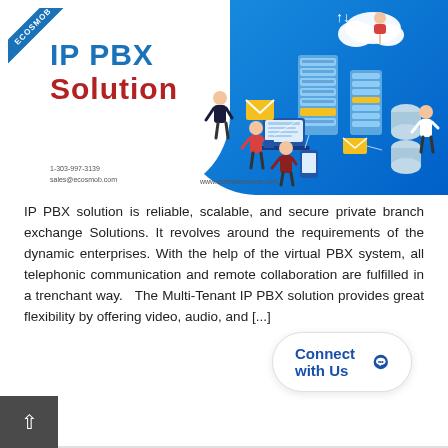[Figure (infographic): IP PBX Solution promotional banner with blue curved background on right side showing isometric illustration of server racks, cloud, laptop, phone and business people. Left white area shows 'IP PBX Solution' title text, ECOSMOB ribbon logo, and contact details: 1-303-997-3139, sales@ecosmob.com, www.asteriskservice.com]
IP PBX solution is reliable, scalable, and secure private branch exchange Solutions. It revolves around the requirements of the dynamic enterprises. With the help of the virtual PBX system, all telephonic communication and remote collaboration are fulfilled in a trenchant way.  The Multi-Tenant IP PBX solution provides great flexibility by offering video, audio, and [...]
Read more
Connect with Us